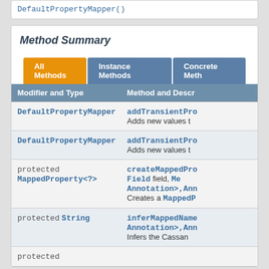DefaultPropertyMapper()
Method Summary
| Modifier and Type | Method and Description |
| --- | --- |
| DefaultPropertyMapper | addTransientPro...
Adds new values t... |
| DefaultPropertyMapper | addTransientPro...
Adds new values t... |
| protected MappedProperty<?> | createMappedPro...
Field field, Me...
Annotation>,Ann...
Creates a MappedP... |
| protected String | inferMappedName...
Annotation>,Ann...
Infers the Cassan... |